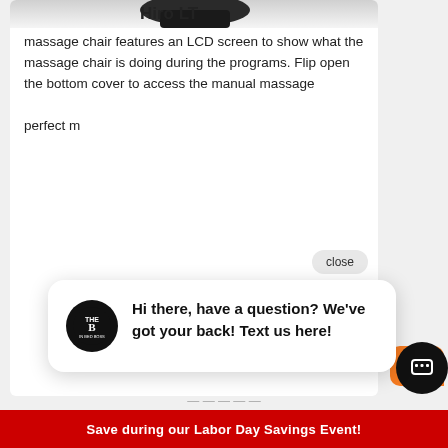[Figure (photo): Partial view of a massage chair product image at the top of the card]
Hiro LT
massage chair features an LCD screen to show what the massage chair is doing during the programs. Flip open the bottom cover to access the manual massage perfect m...
close
[Figure (logo): Black circular logo with THE B letters inside]
Hi there, have a question? We've got your back! Text us here!
[Figure (illustration): Orange chat bubble and black circular chat button widget]
Save during our Labor Day Savings Event!